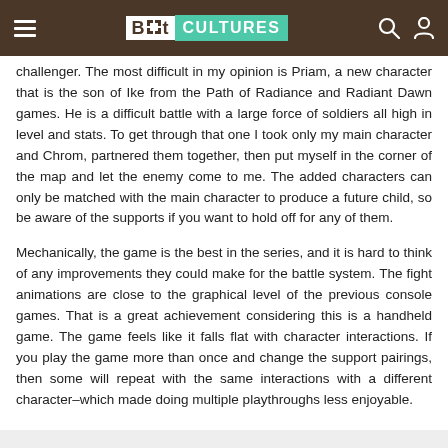Bit Cultures
challenger. The most difficult in my opinion is Priam, a new character that is the son of Ike from the Path of Radiance and Radiant Dawn games. He is a difficult battle with a large force of soldiers all high in level and stats. To get through that one I took only my main character and Chrom, partnered them together, then put myself in the corner of the map and let the enemy come to me. The added characters can only be matched with the main character to produce a future child, so be aware of the supports if you want to hold off for any of them.
Mechanically, the game is the best in the series, and it is hard to think of any improvements they could make for the battle system. The fight animations are close to the graphical level of the previous console games. That is a great achievement considering this is a handheld game. The game feels like it falls flat with character interactions. If you play the game more than once and change the support pairings, then some will repeat with the same interactions with a different character–which made doing multiple playthroughs less enjoyable.